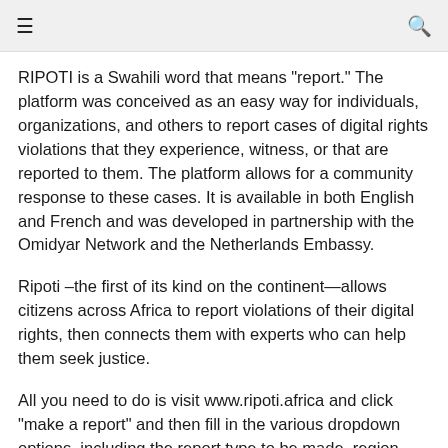≡  🔍
RIPOTI is a Swahili word that means "report." The platform was conceived as an easy way for individuals, organizations, and others to report cases of digital rights violations that they experience, witness, or that are reported to them. The platform allows for a community response to these cases. It is available in both English and French and was developed in partnership with the Omidyar Network and the Netherlands Embassy.
Ripoti –the first of its kind on the continent—allows citizens across Africa to report violations of their digital rights, then connects them with experts who can help them seek justice.
All you need to do is visit www.ripoti.africa and click "make a report" and then fill in the various dropdown options, including the report type to be made, region, etc..